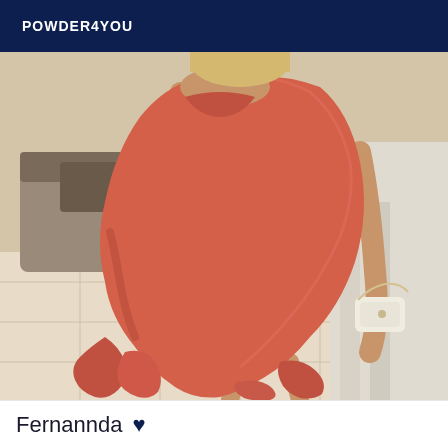POWDER4YOU
[Figure (photo): A woman wearing a fitted orange/coral sleeveless mermaid dress with ruffle hem, holding a white clutch bag, photographed from behind/side in an elegant interior setting with tiled floors and white walls.]
Fernannda ♥